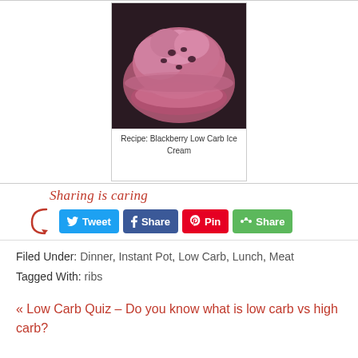[Figure (photo): Bowl of blackberry low carb ice cream, purple/pink colored ice cream in a pink glass bowl on dark background]
Recipe: Blackberry Low Carb Ice Cream
Sharing is caring
Tweet | Share | Pin | Share
Filed Under: Dinner, Instant Pot, Low Carb, Lunch, Meat
Tagged With: ribs
« Low Carb Quiz – Do you know what is low carb vs high carb?